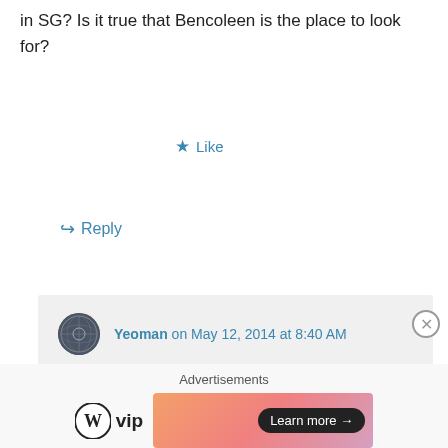in SG? Is it true that Bencoleen is the place to look for?
★ Like
↪ Reply
Yeoman on May 12, 2014 at 8:40 AM
Yes, Bencoleen prices are pretty good.
★ Like
↪ Reply
Advertisements
[Figure (logo): WordPress VIP logo with WP icon and 'vip' text]
[Figure (infographic): Advertisement banner with gradient orange/pink background and Learn more button]